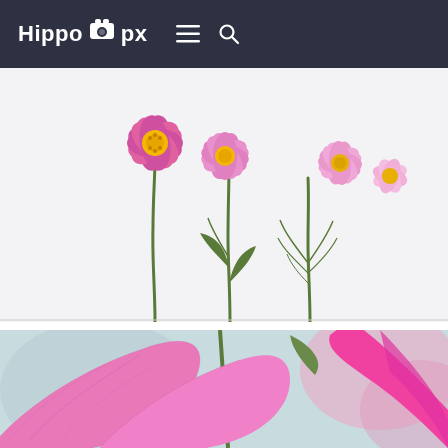Hippo px
[Figure (photo): Pink cosmos flowers with yellow centers on long green stems against a white background]
[Figure (photo): Close-up of pink flower petals with blurred background]